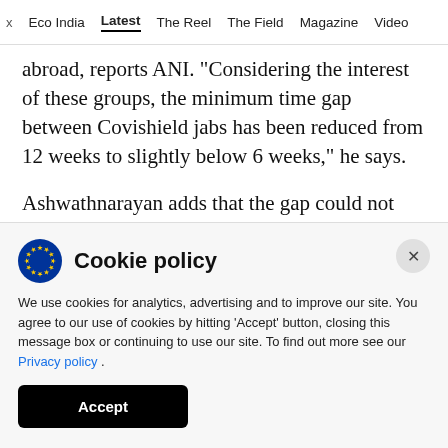x  Eco India  Latest  The Reel  The Field  Magazine  Video
p g ... abroad, reports ANI. “Considering the interest of these groups, the minimum time gap between Covishield jabs has been reduced from 12 weeks to slightly below 6 weeks,” he says.
Ashwathnarayan adds that the gap could not reduced further as that would make the vaccine ineffective
Cookie policy
We use cookies for analytics, advertising and to improve our site. You agree to our use of cookies by hitting ‘Accept’ button, closing this message box or continuing to use our site. To find out more see our Privacy policy .
Accept